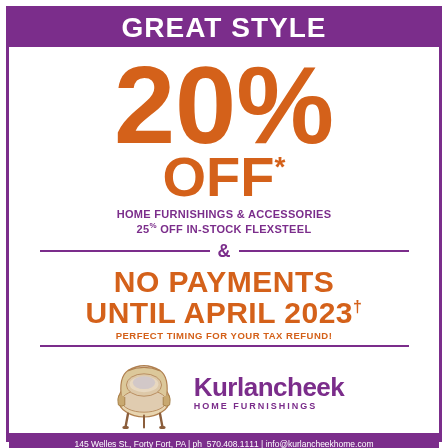GREAT STYLE
20% OFF*
HOME FURNISHINGS & ACCESSORIES
25% OFF IN-STOCK FLEXSTEEL
& NO PAYMENTS UNTIL APRIL 2023†
PERFECT TIMING FOR YOUR TAX REFUND!
[Figure (logo): Kurlancheek Home Furnishings logo with armchair illustration]
145 Welles St., Forty Fort, PA | ph 570.408.1111 | info@kurlancheekhome.com
kurlancheekhome.com | Monday-Friday 10 AM - 7 PM | Saturday 10 AM - 6 PM